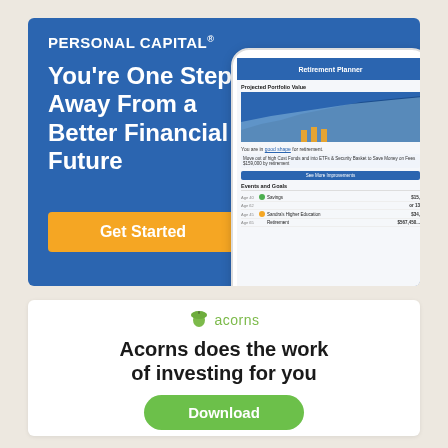[Figure (screenshot): Personal Capital advertisement with blue background, logo, tagline 'You're One Step Away From a Better Financial Future', orange Get Started button, and a phone mockup showing the Retirement Planner app screen with a projected portfolio value area chart, events and goals list.]
[Figure (screenshot): Acorns investment app advertisement on white background with Acorns logo (green acorn icon and brand name), tagline 'Acorns does the work of investing for you', and a green Download button.]